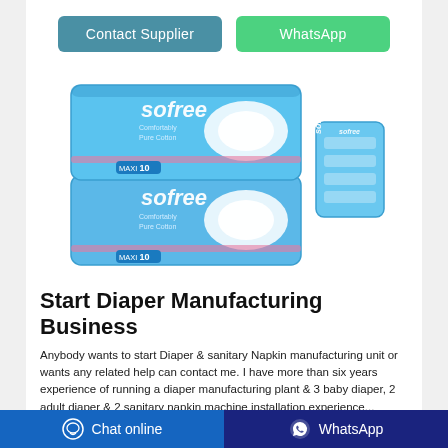Contact Supplier
WhatsApp
[Figure (photo): Two blue Sofree Pure Cotton sanitary napkin packages (10 count each) stacked on the left, and one smaller Sofree package standing to the right]
Start Diaper Manufacturing Business
Anybody wants to start Diaper & sanitary Napkin manufacturing unit or wants any related help can contact me. I have more than six years experience of running a diaper manufacturing plant & 3 baby diaper, 2 adult diaper & 2 sanitary napkin machine installation experience...
Chat online   WhatsApp